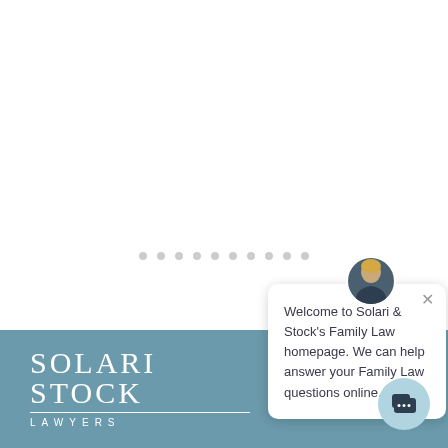[Figure (screenshot): Screenshot of Solari & Stock Lawyers website homepage with a chat popup overlay. The top portion is white with a row of grey dots. The bottom portion has a teal/slate-blue background featuring the Solari Stock Lawyers logo in white. A white chat popup card appears in the lower right area, with a female avatar photo at the top, an X close button, and the text 'Welcome to Solari & Stock's Family Law homepage. We can help answer your Family Law questions online.' A light blue circular chat button icon appears in the bottom-right corner.]
Welcome to Solari & Stock's Family Law homepage. We can help answer your Family Law questions online.
[Figure (logo): Solari Stock Lawyers logo in white serif text on teal background, with a horizontal rule and 'LAWYERS' in spaced capitals beneath.]